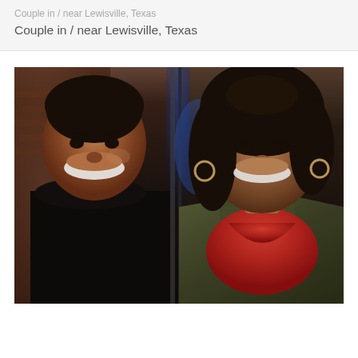Couple in / near Lewisville, Texas
[Figure (photo): A smiling couple posing together indoors. On the left is a Black man wearing a dark/black shirt, smiling broadly, standing in front of a brick wall. On the right is a Latina woman with long dark hair, wearing a red top and an olive/army green jacket, with hoop earrings, also smiling. A blue light or mirror is visible between them in the background.]